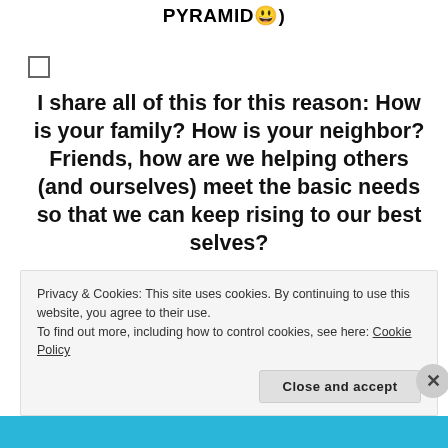PYRAMID 😊 )
I share all of this for this reason: How is your family? How is your neighbor? Friends, how are we helping others (and ourselves) meet the basic needs so that we can keep rising to our best selves?
For me, I'm having to truly limit my time watching the news and focusing on the things in which I have no control. I'll remain diligent and smart in regards to the reality. And
Privacy & Cookies: This site uses cookies. By continuing to use this website, you agree to their use.
To find out more, including how to control cookies, see here: Cookie Policy
Close and accept